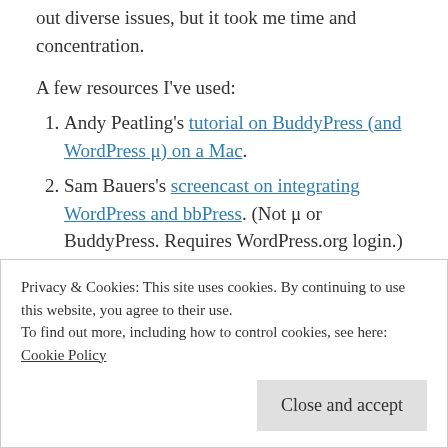out diverse issues, but it took me time and concentration.
A few resources I've used:
Andy Peatling's tutorial on BuddyPress (and WordPress μ) on a Mac.
Sam Bauers's screencast on integrating WordPress and bbPress. (Not μ or BuddyPress. Requires WordPress.org login.)
Trent Adams's tutorial on
Privacy & Cookies: This site uses cookies. By continuing to use this website, you agree to their use.
To find out more, including how to control cookies, see here: Cookie Policy